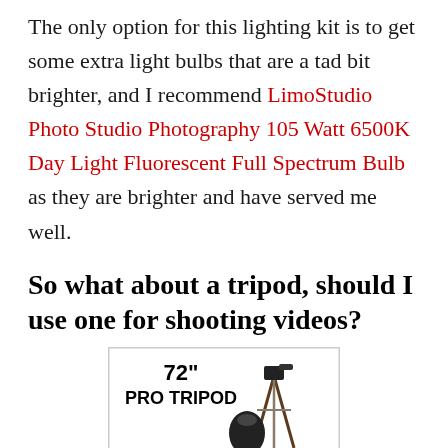The only option for this lighting kit is to get some extra light bulbs that are a tad bit brighter, and I recommend LimoStudio Photo Studio Photography 105 Watt 6500K Day Light Fluorescent Full Spectrum Bulb as they are brighter and have served me well.
So what about a tripod, should I use one for shooting videos?
[Figure (photo): Product image of a 72-inch Pro Tripod in a white box with the text '72" PRO TRIPOD' and an image of a tripod with a carrying bag.]